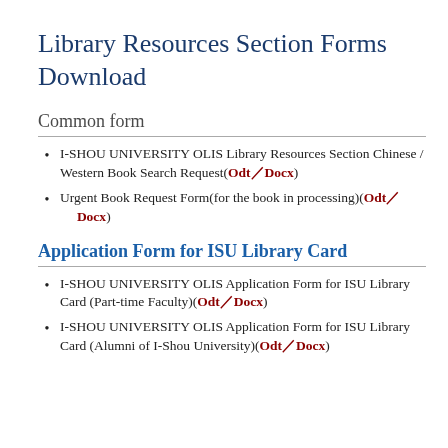Library Resources Section Forms Download
Common form
I-SHOU UNIVERSITY OLIS Library Resources Section Chinese / Western Book Search Request(Odt／Docx)
Urgent Book Request Form(for the book in processing)(Odt／Docx)
Application Form for ISU Library Card
I-SHOU UNIVERSITY OLIS Application Form for ISU Library Card (Part-time Faculty)(Odt／Docx)
I-SHOU UNIVERSITY OLIS Application Form for ISU Library Card (Alumni of I-Shou University)(Odt／Docx)